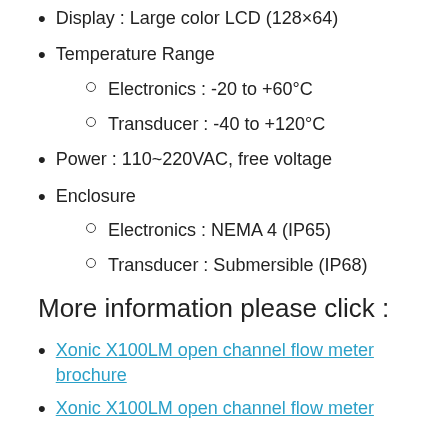Display : Large color LCD (128×64)
Temperature Range
Electronics : -20 to +60°C
Transducer : -40 to +120°C
Power : 110~220VAC, free voltage
Enclosure
Electronics : NEMA 4 (IP65)
Transducer : Submersible (IP68)
More information please click :
Xonic X100LM open channel flow meter brochure
Xonic X100LM open channel flow meter